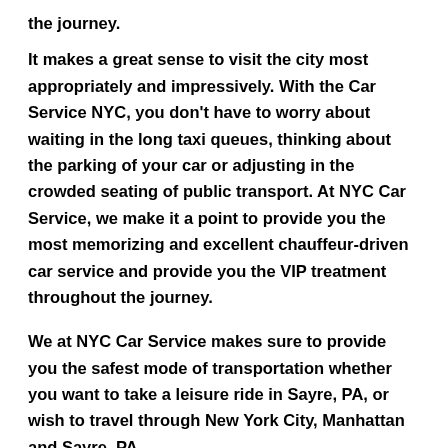the journey.
It makes a great sense to visit the city most appropriately and impressively. With the Car Service NYC, you don’t have to worry about waiting in the long taxi queues, thinking about the parking of your car or adjusting in the crowded seating of public transport. At NYC Car Service, we make it a point to provide you the most memorizing and excellent chauffeur-driven car service and provide you the VIP treatment throughout the journey.
We at NYC Car Service makes sure to provide you the safest mode of transportation whether you want to take a leisure ride in Sayre, PA, or wish to travel through New York City, Manhattan and Sayre, PA.